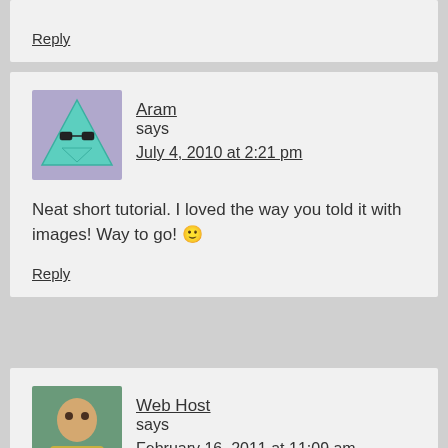Reply
Aram says
July 4, 2010 at 2:21 pm
Neat short tutorial. I loved the way you told it with images! Way to go! 🙂
Reply
Web Host says
February 16, 2011 at 11:09 am